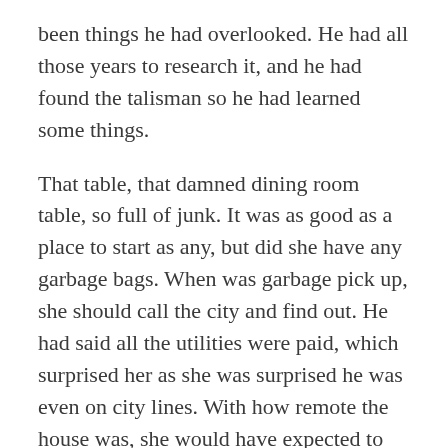been things he had overlooked. He had all those years to research it, and he had found the talisman so he had learned some things.
That table, that damned dining room table, so full of junk. It was as good as a place to start as any, but did she have any garbage bags. When was garbage pick up, she should call the city and find out. He had said all the utilities were paid, which surprised her as she was surprised he was even on city lines. With how remote the house was, she would have expected to have a generator or something, though she supposed there had to be one for the winter. She would have to check the barn for that as well.
She looked over at the kitchen, the door was closed as it always was. That swing back door haunted her and she felt cold every time she looked at it. Just